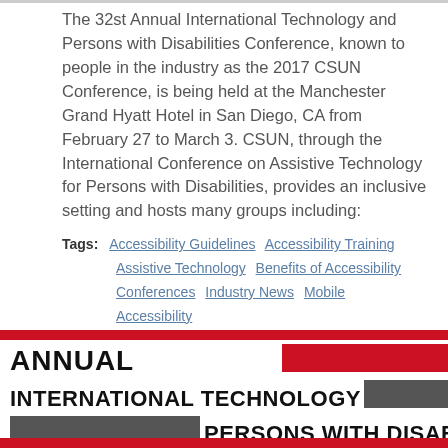The 32st Annual International Technology and Persons with Disabilities Conference, known to people in the industry as the 2017 CSUN Conference, is being held at the Manchester Grand Hyatt Hotel in San Diego, CA from February 27 to March 3. CSUN, through the International Conference on Assistive Technology for Persons with Disabilities, provides an inclusive setting and hosts many groups including:
Tags: Accessibility Guidelines  Accessibility Training  Assistive Technology  Benefits of Accessibility  Conferences  Industry News  Mobile Accessibility
FUN AT CSUN WITH INTERACTIVE ACCESSIBILITY
By Mark Miller on March 18, 2016
[Figure (logo): Annual International Technology & Persons with Disabilities Conference banner logo with red, dark gray, and white colors]